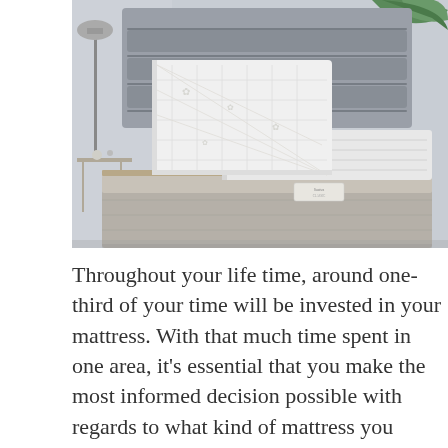[Figure (photo): A modern adjustable bed with grey upholstered frame and headboard, featuring a white quilted mattress folded up at the head. A lamp and small side table are visible on the left, and tropical plant leaves are visible in the upper right corner.]
Throughout your life time, around one-third of your time will be invested in your mattress. With that much time spent in one area, it's essential that you make the most informed decision possible with regards to what kind of mattress you select. A good nights sleep has actually been proven by